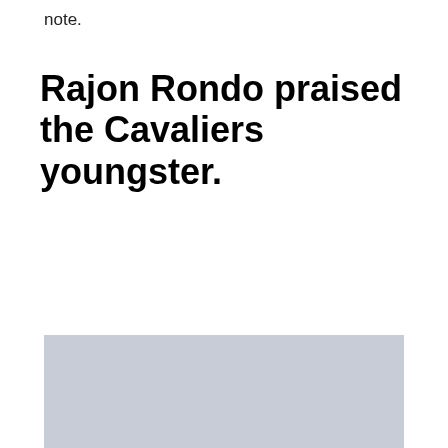note.
Rajon Rondo praised the Cavaliers youngster.
[Figure (photo): Large light gray placeholder image rectangle]